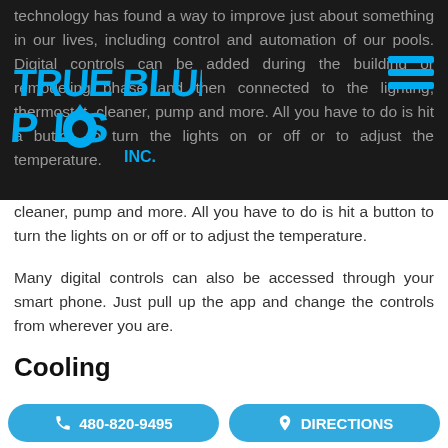[Figure (logo): True Blue Pools Inc. logo in blue lettering on dark background]
technology has found a way to improve just about something in our lives, including control and automation of our pools. Digital controls can be added during the building or remodeling phase and then connected to the lighting, thermostat, cleaner, pump and more. All you have to do is hit a button to turn the lights on or off or to adjust the temperature.
Many digital controls can also be accessed through your smart phone. Just pull up the app and change the controls from wherever you are.
Cooling
You already know that you can heat your pool, but what about cooling it? If you are living in the direct...
480-820-9495   DIRECTIONS